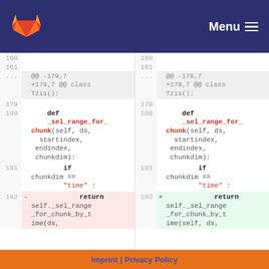GitLab | Menu
[Figure (screenshot): Side-by-side diff view of a Python file showing lines 160-182. Left and right panels show a function definition '_sel_range_for_chunk' with a change at line 182: removed line returns self._sel_range_for_chunk_by_time(ds, in left panel (red background), added line returns same in right panel (green background).]
Imprint | Privacy Policy